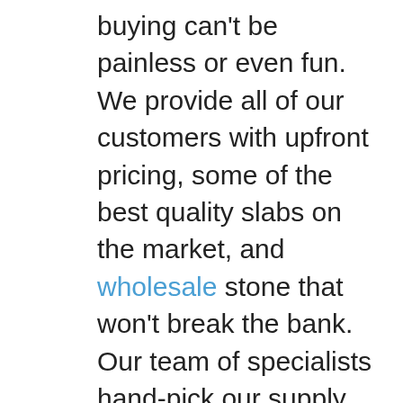buying can't be painless or even fun. We provide all of our customers with upfront pricing, some of the best quality slabs on the market, and wholesale stone that won't break the bank. Our team of specialists hand-pick our supply of stone so you can ensure the utmost quality and great appearance on every inch of every slab. Granite Liquidators is different from other stone suppliers because we take immense pride in our communication with our customers. Delivering the best possible customer service and making every client who walks through the door feel like family is our mission. We've been a family-owned and run business since 1974. We're different because we care. We want the best for all of our customers and hope we can provide them with